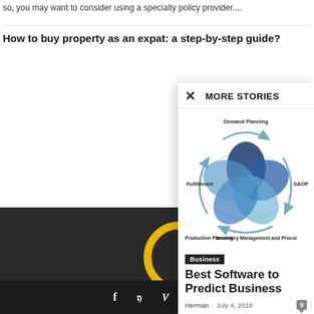so, you may want to consider using a specialty policy provider....
How to buy property as an expat: a step-by-step guide?
MORE STORIES
[Figure (infographic): Circular flow diagram showing four interconnected business planning areas: Demand Planning (top), S&OP (right), Inventory Management and Procurement (bottom right), Production Planning (bottom left), Fulfillment (left). The center shows overlapping petal/Venn shapes in shades of blue forming a flower-like pattern inside an ellipse.]
Business
Best Software to Predict Business
Herman  -  July 4, 2018